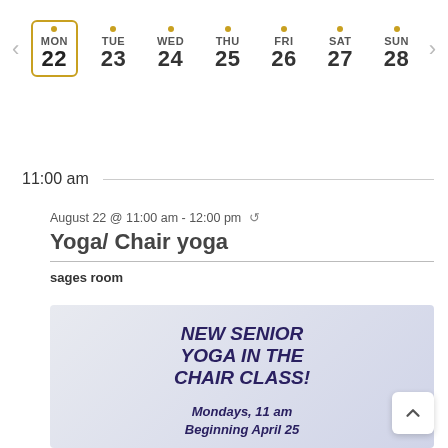[Figure (screenshot): Weekly calendar navigation showing MON 22 (selected, highlighted with orange border), TUE 23, WED 24, THU 25, FRI 26, SAT 27, SUN 28 with orange dots above each day.]
11:00 am
August 22 @ 11:00 am - 12:00 pm (recurring)
Yoga/ Chair yoga
sages room
[Figure (photo): Flyer for New Senior Yoga in the Chair Class. Text reads: NEW SENIOR YOGA IN THE CHAIR CLASS! Mondays, 11 am Beginning April 25. Individual: $15/class. 1st Time or Bring a Friend? $10/Each. Please sign up ASAP!]